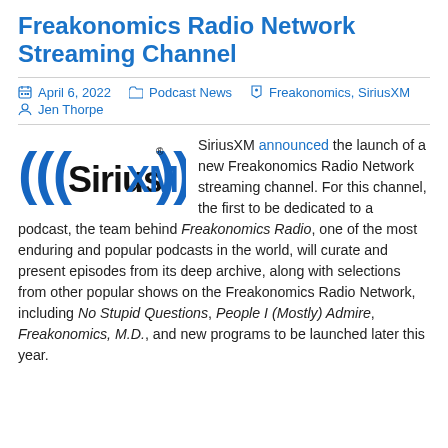Freakonomics Radio Network Streaming Channel
April 6, 2022   Podcast News   Freakonomics, SiriusXM   Jen Thorpe
[Figure (logo): SiriusXM logo in black with radio wave brackets]
SiriusXM announced the launch of a new Freakonomics Radio Network streaming channel. For this channel, the first to be dedicated to a podcast, the team behind Freakonomics Radio, one of the most enduring and popular podcasts in the world, will curate and present episodes from its deep archive, along with selections from other popular shows on the Freakonomics Radio Network, including No Stupid Questions, People I (Mostly) Admire, Freakonomics, M.D., and new programs to be launched later this year.